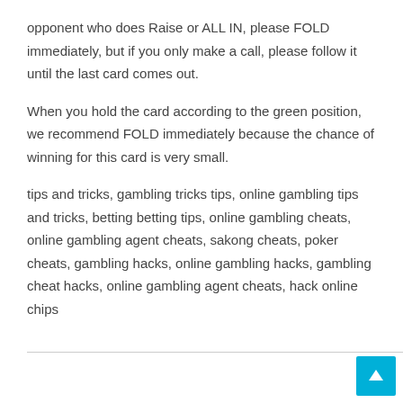opponent who does Raise or ALL IN, please FOLD immediately, but if you only make a call, please follow it until the last card comes out.
When you hold the card according to the green position, we recommend FOLD immediately because the chance of winning for this card is very small.
tips and tricks, gambling tricks tips, online gambling tips and tricks, betting betting tips, online gambling cheats, online gambling agent cheats, sakong cheats, poker cheats, gambling hacks, online gambling hacks, gambling cheat hacks, online gambling agent cheats, hack online chips
↑